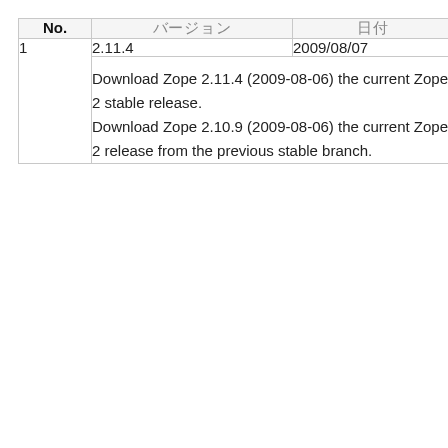| No. | バージョン | 日付 |
| --- | --- | --- |
| 1 | 2.11.4 | 2009/08/07 |
|  | Download Zope 2.11.4 (2009-08-06) the current Zope 2 stable release.
Download Zope 2.10.9 (2009-08-06) the current Zope 2 release from the previous stable branch. |  |